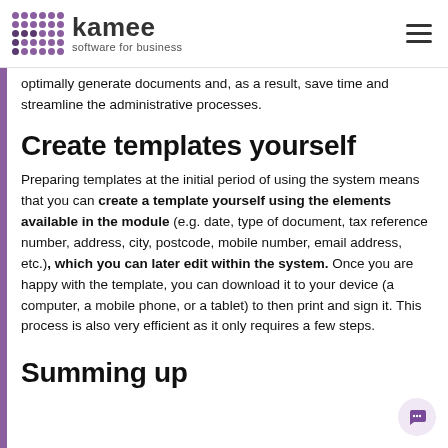kamee software for business
optimally generate documents and, as a result, save time and streamline the administrative processes.
Create templates yourself
Preparing templates at the initial period of using the system means that you can create a template yourself using the elements available in the module (e.g. date, type of document, tax reference number, address, city, postcode, mobile number, email address, etc.), which you can later edit within the system. Once you are happy with the template, you can download it to your device (a computer, a mobile phone, or a tablet) to then print and sign it. This process is also very efficient as it only requires a few steps.
Summing up